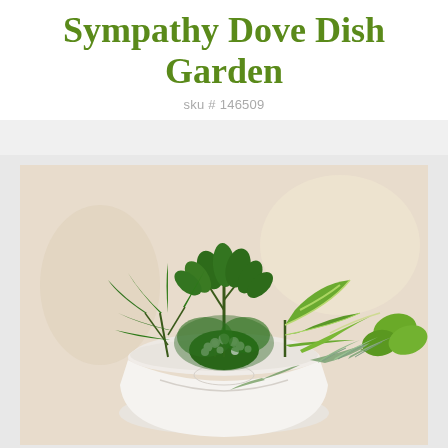Sympathy Dove Dish Garden
sku # 146509
[Figure (photo): A white ornate dish garden planter filled with lush green plants including schefflera, dieffenbachia, pothos, ivy, and white kalanchoe flowers, set against a soft beige background.]